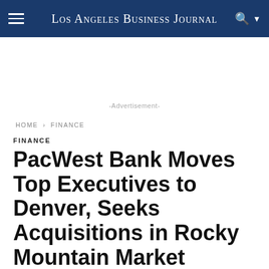Los Angeles Business Journal
-Advertisement-
HOME › FINANCE
FINANCE
PacWest Bank Moves Top Executives to Denver, Seeks Acquisitions in Rocky Mountain Market
BY PAT MAIO